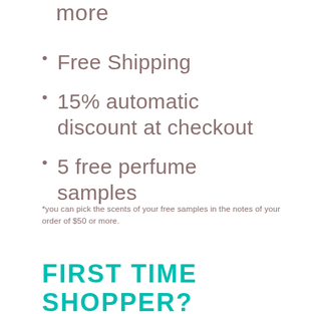Free Shipping
15% automatic discount at checkout
5 free perfume samples
*you can pick the scents of your free samples in the notes of your order of $50 or more.
FIRST TIME SHOPPER?